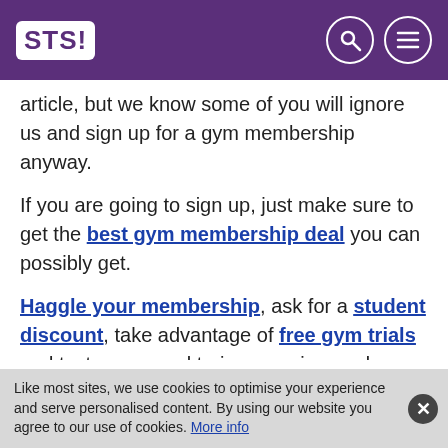STS!
article, but we know some of you will ignore us and sign up for a gym membership anyway.
If you are going to sign up, just make sure to get the best gym membership deal you can possibly get.
Haggle your membership, ask for a student discount, take advantage of free gym trials and taster personal trainer sessions – do whatever you can to get the price down.
Not only will you start getting fit before you
Like most sites, we use cookies to optimise your experience and serve personalised content. By using our website you agree to our use of cookies. More info